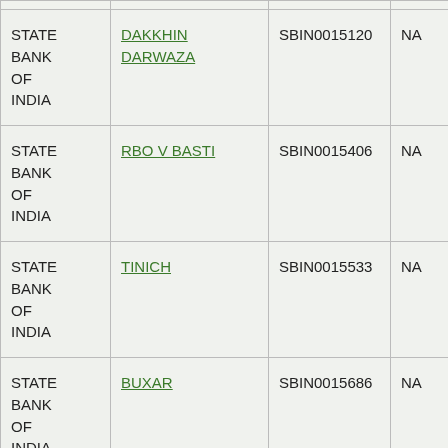| Bank | Branch | IFSC | MICR |
| --- | --- | --- | --- |
| STATE BANK OF INDIA | DAKKHIN DARWAZA | SBIN0015120 | NA |
| STATE BANK OF INDIA | RBO V BASTI | SBIN0015406 | NA |
| STATE BANK OF INDIA | TINICH | SBIN0015533 | NA |
| STATE BANK OF INDIA | BUXAR | SBIN0015686 | NA |